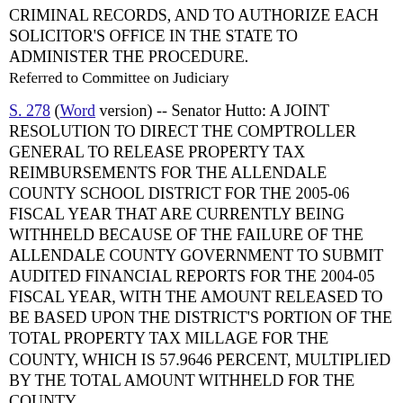CRIMINAL RECORDS, AND TO AUTHORIZE EACH SOLICITOR'S OFFICE IN THE STATE TO ADMINISTER THE PROCEDURE.
Referred to Committee on Judiciary
S. 278 (Word version) -- Senator Hutto: A JOINT RESOLUTION TO DIRECT THE COMPTROLLER GENERAL TO RELEASE PROPERTY TAX REIMBURSEMENTS FOR THE ALLENDALE COUNTY SCHOOL DISTRICT FOR THE 2005-06 FISCAL YEAR THAT ARE CURRENTLY BEING WITHHELD BECAUSE OF THE FAILURE OF THE ALLENDALE COUNTY GOVERNMENT TO SUBMIT AUDITED FINANCIAL REPORTS FOR THE 2004-05 FISCAL YEAR, WITH THE AMOUNT RELEASED TO BE BASED UPON THE DISTRICT'S PORTION OF THE TOTAL PROPERTY TAX MILLAGE FOR THE COUNTY, WHICH IS 57.9646 PERCENT, MULTIPLIED BY THE TOTAL AMOUNT WITHHELD FOR THE COUNTY.
Referred to Committee on Ways and Means
S. 585 (Word version) -- Senators Ryberg and Cleary: A JOINT RESOLUTION TO DIRECT THE DEPARTMENT OF COMMERCE, DIVISION OF PUBLIC RAILWAYS TO IMPLEMENT AND OVERSEE A STATEWIDE RAIL PLAN, ON OR BEFORE MARCH 31, 2008, IN ACCORDANCE WITH EXISTING FEDERAL STATUTES, RULES, AND